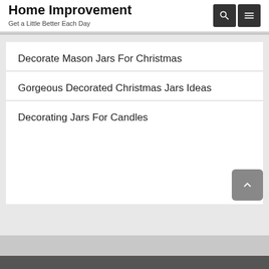Home Improvement
Get a Little Better Each Day
Decorate Mason Jars For Christmas
Gorgeous Decorated Christmas Jars Ideas
Decorating Jars For Candles